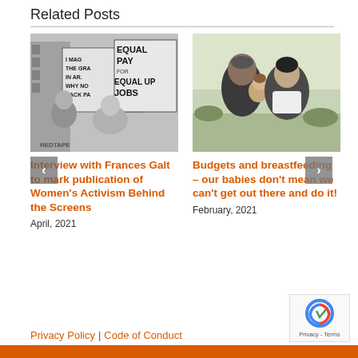Related Posts
[Figure (photo): Black and white photo of women protesters holding signs reading 'Equal Pay for Equal Jobs' and 'Red Tape']
Interview with Frances Galt to mark publication of Women's Activism Behind the Screens
April, 2021
[Figure (photo): Color photo of a man, woman, and baby outdoors in winter clothing]
Budgets and breastfeeding – our babies don't mean we can't get out there and do it!
February, 2021
Privacy Policy | Code of Conduct